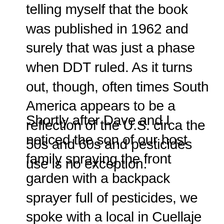telling myself that the book was published in 1962 and surely that was just a phase when DDT ruled. As it turns out, though, often times South America appears to be a reflection of the U.S. circa the 50s and 60s and pesticides use is no exception.
Shortly after Dave and I noticed the son of our host family spraying the front garden with a backpack sprayer full of pesticides, we spoke with a local in Cuellaje who told us horror stories from his time working on a fruit plantation. Often times, he said, pregnant women would show up looking to make supplementary income for their families. The bosses wouldn't refuse the extra help and allowed them to spray fungicides on the crops without any sort of protection clothing. Not surprisingly, because of